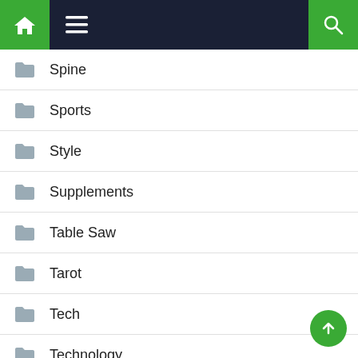Navigation bar with home, menu, and search icons
Spine
Sports
Style
Supplements
Table Saw
Tarot
Tech
Technology
Testosterone
Therapy